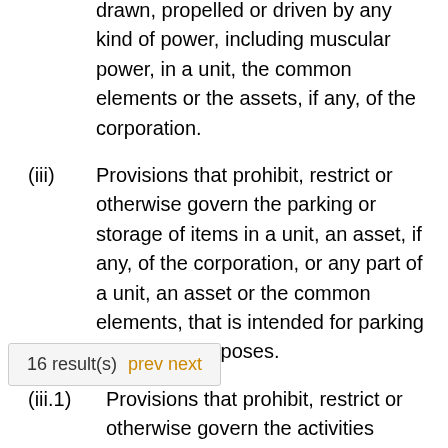drawn, propelled or driven by any kind of power, including muscular power, in a unit, the common elements or the assets, if any, of the corporation.
(iii) Provisions that prohibit, restrict or otherwise govern the parking or storage of items in a unit, an asset, if any, of the corporation, or any part of a unit, an asset or the common elements, that is intended for parking or storage purposes.
(iii.1) Provisions that prohibit, restrict or otherwise govern the activities described in subsection 117 (2) of
16 result(s) prev next